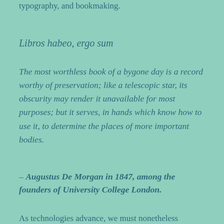typography, and bookmaking.
Libros habeo, ergo sum
The most worthless book of a bygone day is a record worthy of preservation; like a telescopic star, its obscurity may render it unavailable for most purposes; but it serves, in hands which know how to use it, to determine the places of more important bodies.
– Augustus De Morgan in 1847, among the founders of University College London.
As technologies advance, we must nonetheless maintain